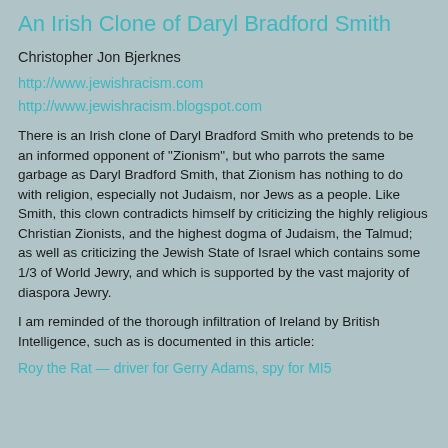An Irish Clone of Daryl Bradford Smith
Christopher Jon Bjerknes
http://www.jewishracism.com
http://www.jewishracism.blogspot.com
There is an Irish clone of Daryl Bradford Smith who pretends to be an informed opponent of "Zionism", but who parrots the same garbage as Daryl Bradford Smith, that Zionism has nothing to do with religion, especially not Judaism, nor Jews as a people. Like Smith, this clown contradicts himself by criticizing the highly religious Christian Zionists, and the highest dogma of Judaism, the Talmud; as well as criticizing the Jewish State of Israel which contains some 1/3 of World Jewry, and which is supported by the vast majority of diaspora Jewry.
I am reminded of the thorough infiltration of Ireland by British Intelligence, such as is documented in this article:
Roy the Rat — driver for Gerry Adams, spy for MI5